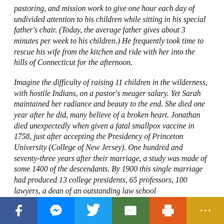pastoring, and mission work to give one hour each day of undivided attention to his children while sitting in his special father's chair. (Today, the average father gives about 3 minutes per week to his children.) He frequently took time to rescue his wife from the kitchen and ride with her into the hills of Connecticut for the afternoon.
Imagine the difficulty of raising 11 children in the wilderness, with hostile Indians, on a pastor's meager salary. Yet Sarah maintained her radiance and beauty to the end. She died one year after he did, many believe of a broken heart. Jonathan died unexpectedly when given a fatal smallpox vaccine in 1758, just after accepting the Presidency of Princeton University (College of New Jersey). One hundred and seventy-three years after their marriage, a study was made of some 1400 of the descendants. By 1900 this single marriage had produced 13 college presidents, 65 professors, 100 lawyers, a dean of an outstanding law school